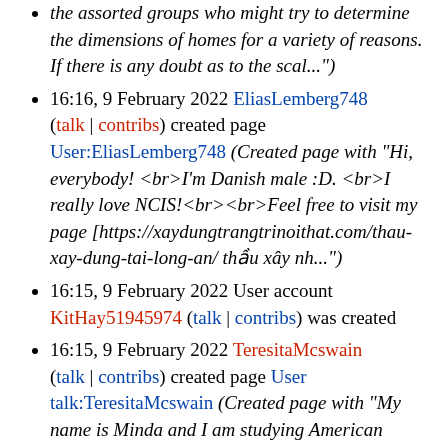the assorted groups who might try to determine the dimensions of homes for a variety of reasons. If there is any doubt as to the scal...")
16:16, 9 February 2022 EliasLemberg748 (talk | contribs) created page User:EliasLemberg748 (Created page with "Hi, everybody! <br>I'm Danish male :D. <br>I really love NCIS!<br><br>Feel free to visit my page [https://xaydungtrangtrinoithat.com/thau-xay-dung-tai-long-an/ thầu xây nh...")
16:15, 9 February 2022 User account KitHay51945974 (talk | contribs) was created
16:15, 9 February 2022 TeresitaMcswain (talk | contribs) created page User talk:TeresitaMcswain (Created page with "My name is Minda and I am studying American